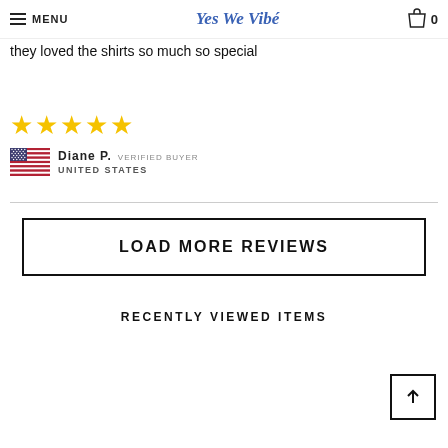MENU | Yes We Vibe | 0
they loved the shirts so much so special
[Figure (other): Five gold star rating icons]
Diane P.   VERIFIED BUYER
UNITED STATES
LOAD MORE REVIEWS
RECENTLY VIEWED ITEMS